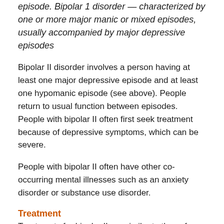episode. Bipolar 1 disorder — characterized by one or more major manic or mixed episodes, usually accompanied by major depressive episodes
Bipolar II disorder involves a person having at least one major depressive episode and at least one hypomanic episode (see above). People return to usual function between episodes. People with bipolar II often first seek treatment because of depressive symptoms, which can be severe.
People with bipolar II often have other co-occurring mental illnesses such as an anxiety disorder or substance use disorder.
Treatment
Treatments for bipolar II are similar to those for bipolar I — medication and psychotherapy. Medications most